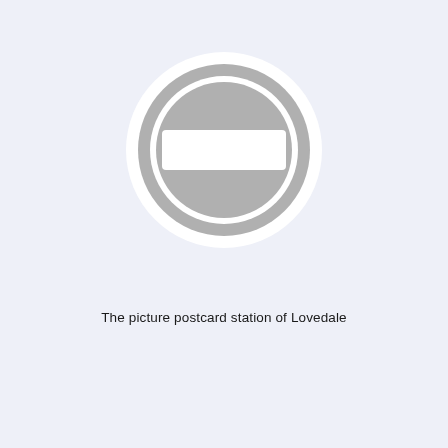[Figure (other): A placeholder image icon: a gray circle with a white ring border and a white horizontal rectangle in the center, resembling a no-entry or image-unavailable symbol.]
The picture postcard station of Lovedale